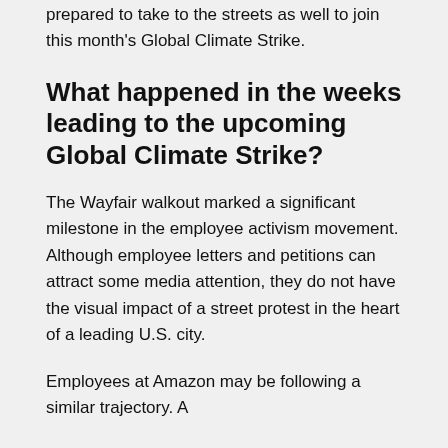prepared to take to the streets as well to join this month's Global Climate Strike.
What happened in the weeks leading to the upcoming Global Climate Strike?
The Wayfair walkout marked a significant milestone in the employee activism movement. Although employee letters and petitions can attract some media attention, they do not have the visual impact of a street protest in the heart of a leading U.S. city.
Employees at Amazon may be following a similar trajectory. A